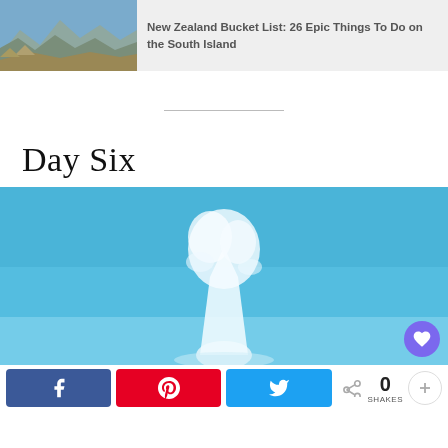[Figure (photo): Related article card with mountain landscape thumbnail and title 'New Zealand Bucket List: 26 Epic Things To Do on the South Island']
New Zealand Bucket List: 26 Epic Things To Do on the South Island
Day Six
[Figure (photo): Large geyser or steam plume erupting against a bright blue sky]
[Figure (infographic): Social share bar with Facebook, Pinterest, Twitter share buttons, and share count showing 0 SHAkes]